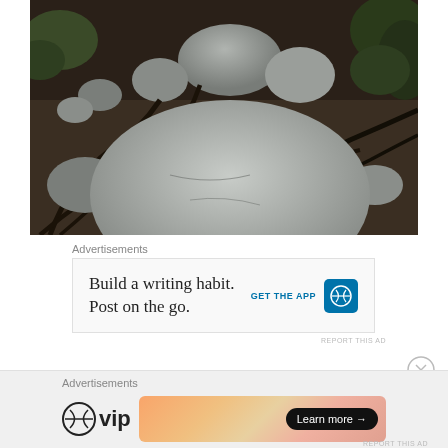[Figure (photo): Outdoor nature photo showing large granite boulders and exposed tree roots on a forest floor/trail. Several big grey rocks dominate the scene with dark intertwining roots spreading across the ground and evergreen trees visible in the background.]
Advertisements
[Figure (screenshot): Advertisement for WordPress app: 'Build a writing habit. Post on the go.' with GET THE APP button and WordPress logo on blue rounded square background.]
REPORT THIS AD
Advertisements
[Figure (screenshot): WordPress VIP advertisement banner with WordPress VIP logo on left and gradient orange/pink banner on right with 'Learn more →' button.]